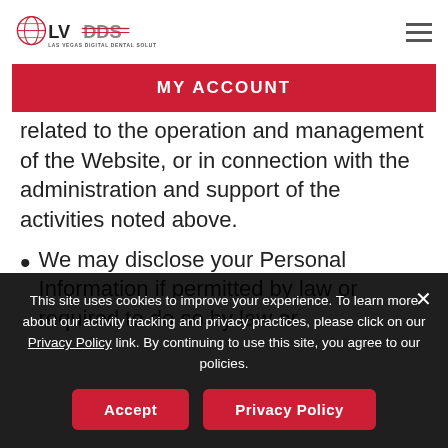[Figure (logo): LVDDS Las Vegas Digital Dental Solutions logo with red and gray text and tooth icon]
MY ACCOUNT
related to the operation and management of the Website, or in connection with the administration and support of the activities noted above.
We may disclose your Personal Information if permitted by law or required to do so by law or
This site uses cookies to improve your experience. To learn more about our activity tracking and privacy practices, please click on our Privacy Policy link. By continuing to use this site, you agree to our policies.